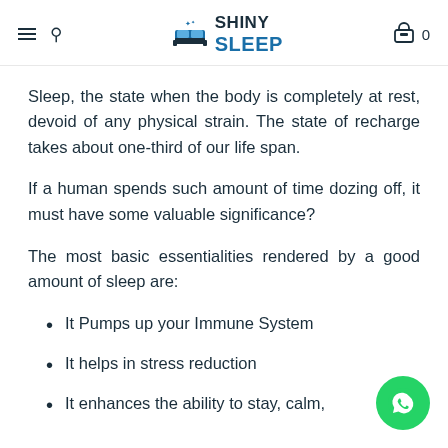SHINY SLEEP
Sleep, the state when the body is completely at rest, devoid of any physical strain. The state of recharge takes about one-third of our life span.
If a human spends such amount of time dozing off, it must have some valuable significance?
The most basic essentialities rendered by a good amount of sleep are:
It Pumps up your Immune System
It helps in stress reduction
It enhances the ability to stay, calm,